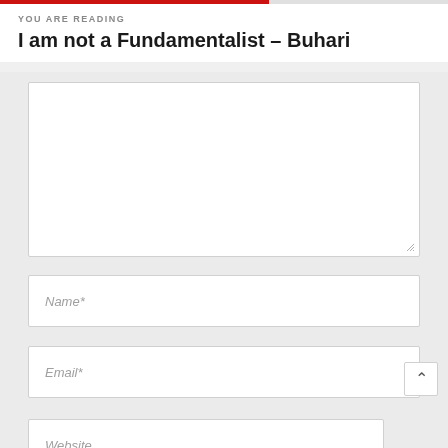YOU ARE READING
I am not a Fundamentalist – Buhari
[Figure (screenshot): Web page comment form with textarea, Name*, Email*, and Website fields on a light grey background]